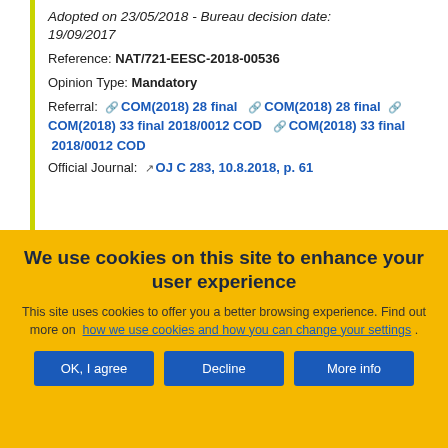Adopted on 23/05/2018 - Bureau decision date: 19/09/2017
Reference: NAT/721-EESC-2018-00536
Opinion Type: Mandatory
Referral: COM(2018) 28 final   COM(2018) 28 final   COM(2018) 33 final 2018/0012 COD   COM(2018) 33 final 2018/0012 COD
Official Journal: OJ C 283, 10.8.2018, p. 61
We use cookies on this site to enhance your user experience
This site uses cookies to offer you a better browsing experience. Find out more on how we use cookies and how you can change your settings .
OK, I agree | Decline | More info